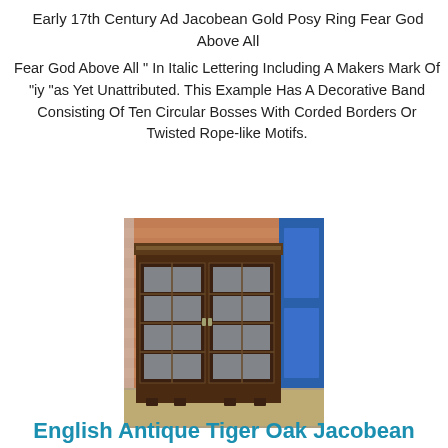Early 17th Century Ad Jacobean Gold Posy Ring Fear God Above All
Fear God Above All " In Italic Lettering Including A Makers Mark Of "iy "as Yet Unattributed. This Example Has A Decorative Band Consisting Of Ten Circular Bosses With Corded Borders Or Twisted Rope-like Motifs.
[Figure (photo): Photo of a dark wood antique bookcase with glass-paned double doors showing shelves inside, sitting on a patterned rug against a brick wall with a blue door visible on the right.]
English Antique Tiger Oak Jacobean